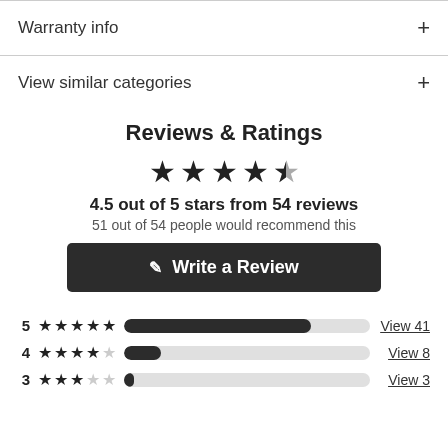Warranty info
View similar categories
Reviews & Ratings
[Figure (other): 4.5 out of 5 stars rating display with filled and half stars]
4.5 out of 5 stars from 54 reviews
51 out of 54 people would recommend this
Write a Review
[Figure (bar-chart): Star rating breakdown bars: 5 stars View 41, 4 stars View 8, 3 stars View 3]